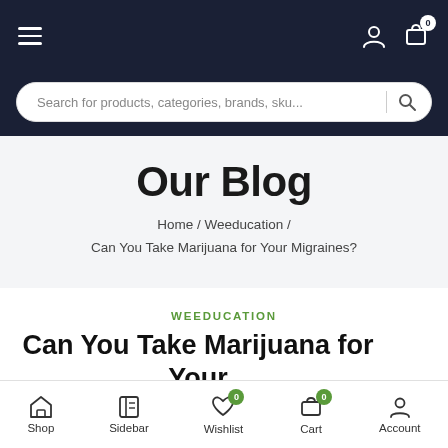Navigation bar with hamburger menu, user icon, and cart icon (0 items)
Search for products, categories, brands, sku...
Our Blog
Home / Weeducation / Can You Take Marijuana for Your Migraines?
WEEDUCATION
Can You Take Marijuana for Your Migraines?
Shop | Sidebar | Wishlist 0 | Cart 0 | Account